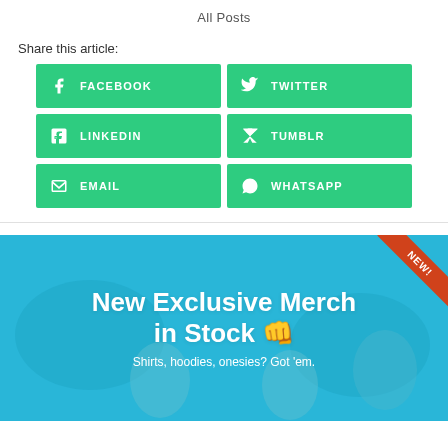All Posts
Share this article:
FACEBOOK
TWITTER
LINKEDIN
TUMBLR
EMAIL
WHATSAPP
[Figure (illustration): Promotional banner with blue gaming background, orange NEW ribbon in top right corner, bold white text 'New Exclusive Merch in Stock 👊' and subtitle 'Shirts, hoodies, onesies? Got 'em.']